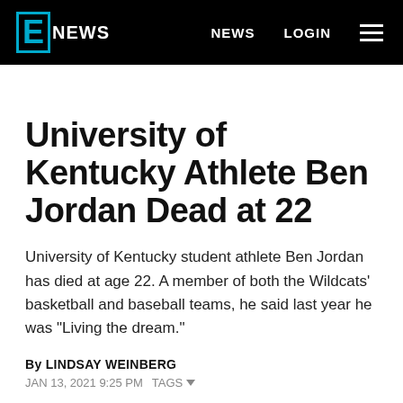E! NEWS  NEWS  LOGIN
University of Kentucky Athlete Ben Jordan Dead at 22
University of Kentucky student athlete Ben Jordan has died at age 22. A member of both the Wildcats' basketball and baseball teams, he said last year he was "Living the dream."
By LINDSAY WEINBERG
JAN 13, 2021 9:25 PM  TAGS